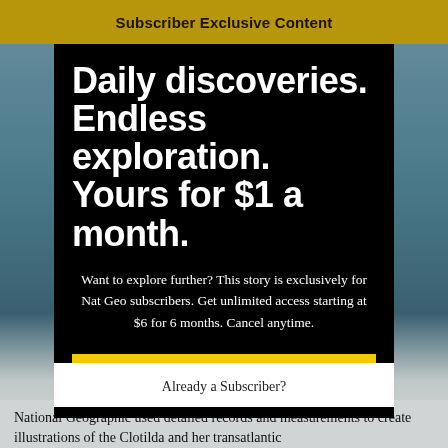Subscriber Exclusive Content
Daily discoveries. Endless exploration. Yours for $1 a month.
Want to explore further? This story is exclusively for Nat Geo subscribers. Get unlimited access starting at $6 for 6 months. Cancel anytime.
EXPLORE YOUR OPTIONS
Already a Subscriber?
National Geographic used detailed records and measurements to create illustrations of the Clotilda and her transatlantic